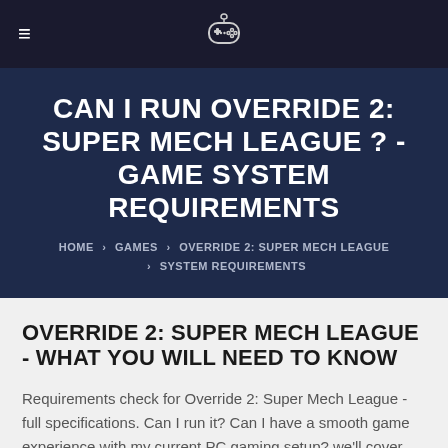≡  [gamepad icon]
CAN I RUN OVERRIDE 2: SUPER MECH LEAGUE ? - GAME SYSTEM REQUIREMENTS
HOME > GAMES > OVERRIDE 2: SUPER MECH LEAGUE > SYSTEM REQUIREMENTS
OVERRIDE 2: SUPER MECH LEAGUE - WHAT YOU WILL NEED TO KNOW
Requirements check for Override 2: Super Mech League - full specifications. Can I run it? Can I have a smooth game experience with my current PC gaming setup? we'll cover that in the following paragraphs.